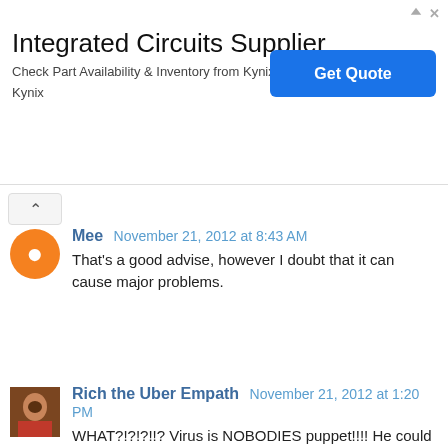[Figure (screenshot): Advertisement banner for Integrated Circuits Supplier by Kynix with Get Quote button]
Mee  November 21, 2012 at 8:43 AM
That's a good advise, however I doubt that it can cause major problems.
Rich the Uber Empath  November 21, 2012 at 1:20 PM
WHAT?!?!?!!? Virus is NOBODIES puppet!!!! He could singlehandedly take down everybody at SW one by one if he wanted to!!!! LOL
Anonymous  November 21, 2012 at 4:35 PM
remy, the IP is never anonymous